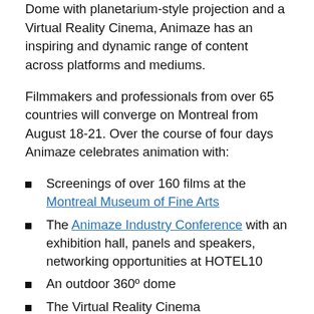Dome with planetarium-style projection and a Virtual Reality Cinema, Animaze has an inspiring and dynamic range of content across platforms and mediums.
Filmmakers and professionals from over 65 countries will converge on Montreal from August 18-21. Over the course of four days Animaze celebrates animation with:
Screenings of over 160 films at the Montreal Museum of Fine Arts
The Animaze Industry Conference with an exhibition hall, panels and speakers, networking opportunities at HOTEL10
An outdoor 360º dome
The Virtual Reality Cinema
Free outdoor screenings at Parc des amériques on August 19 and 20.
Follow on website...